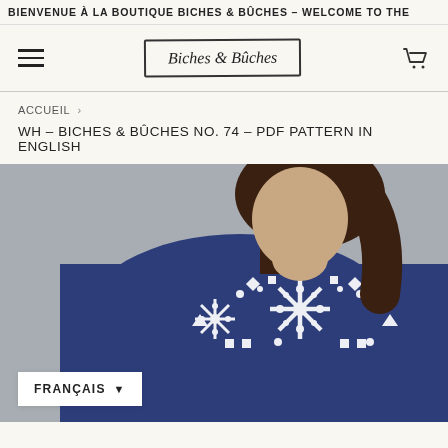BIENVENUE À LA BOUTIQUE BICHES & BÛCHES – WELCOME TO THE
[Figure (logo): Biches & Bûches logo in hand-drawn bordered box]
ACCUEIL  ›
WH – BICHES & BÛCHES NO. 74 – PDF PATTERN IN ENGLISH
[Figure (photo): Woman wearing a navy blue Fair Isle / Nordic patterned knit sweater with white snowflake motifs on the yoke and sleeves, photographed from behind/side showing shoulder detail against a grey background]
FRANÇAIS  ▾